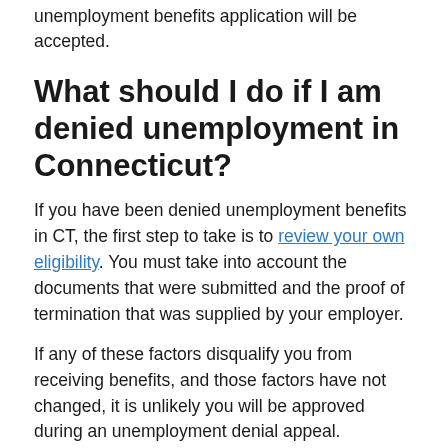unemployment benefits application will be accepted.
What should I do if I am denied unemployment in Connecticut?
If you have been denied unemployment benefits in CT, the first step to take is to review your own eligibility. You must take into account the documents that were submitted and the proof of termination that was supplied by your employer.
If any of these factors disqualify you from receiving benefits, and those factors have not changed, it is unlikely you will be approved during an unemployment denial appeal.
However, if the reason you were denied has changed, or you feel that you legally meet all of the requirements to receive unemployment benefits, then start looking into beginning the appeal process.